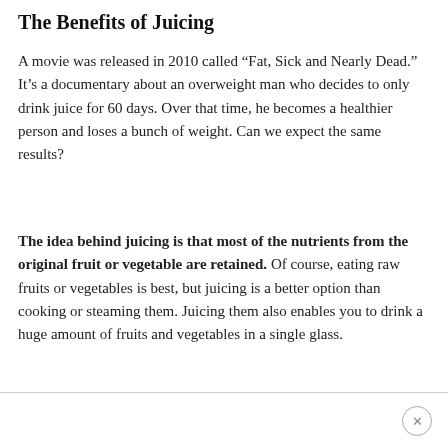The Benefits of Juicing
A movie was released in 2010 called “Fat, Sick and Nearly Dead.” It’s a documentary about an overweight man who decides to only drink juice for 60 days. Over that time, he becomes a healthier person and loses a bunch of weight. Can we expect the same results?
The idea behind juicing is that most of the nutrients from the original fruit or vegetable are retained. Of course, eating raw fruits or vegetables is best, but juicing is a better option than cooking or steaming them. Juicing them also enables you to drink a huge amount of fruits and vegetables in a single glass.